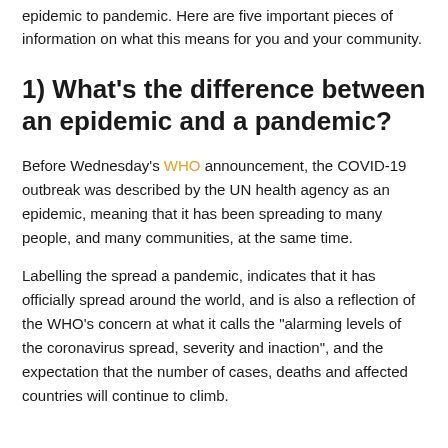epidemic to pandemic. Here are five important pieces of information on what this means for you and your community.
1) What’s the difference between an epidemic and a pandemic?
Before Wednesday’s WHO announcement, the COVID-19 outbreak was described by the UN health agency as an epidemic, meaning that it has been spreading to many people, and many communities, at the same time.
Labelling the spread a pandemic, indicates that it has officially spread around the world, and is also a reflection of the WHO’s concern at what it calls the “alarming levels of the coronavirus spread, severity and inaction”, and the expectation that the number of cases, deaths and affected countries will continue to climb.